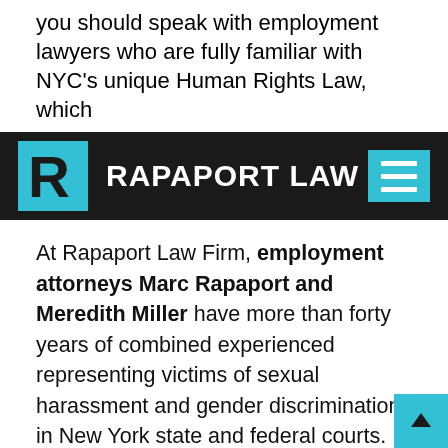you should speak with employment lawyers who are fully familiar with NYC's unique Human Rights Law, which
[Figure (logo): Rapaport Law firm logo and navigation bar with teal R logo, white text 'RAPAPORT LAW' on black background, and teal hamburger menu icon]
At Rapaport Law Firm, employment attorneys Marc Rapaport and Meredith Miller have more than forty years of combined experienced representing victims of sexual harassment and gender discrimination in New York state and federal courts.  We can be reached at (212) 382-1600 to schedule a meeting to discuss your potential claims.  We are located at One Penn Plaza, directly above Penn Station in Manhattan.  We have successfully pursued discrimination claims against the nation's largest and most powerful corporations.